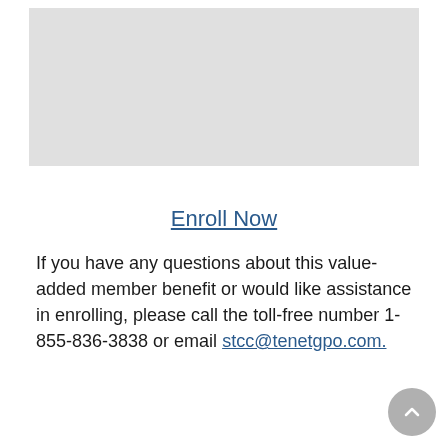[Figure (other): Gray placeholder image box at top of page]
Enroll Now
If you have any questions about this value-added member benefit or would like assistance in enrolling, please call the toll-free number 1-855-836-3838 or email stcc@tenetgpo.com.